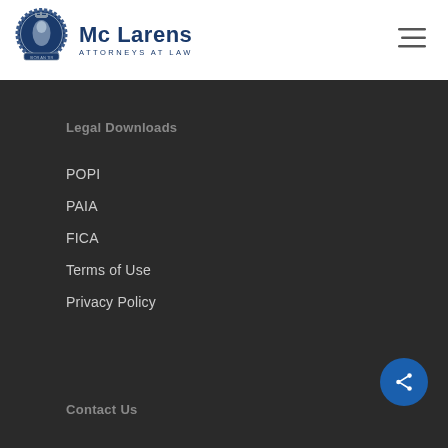Mc Larens ATTORNEYS AT LAW
Legal Downloads
POPI
PAIA
FICA
Terms of Use
Privacy Policy
Contact Us